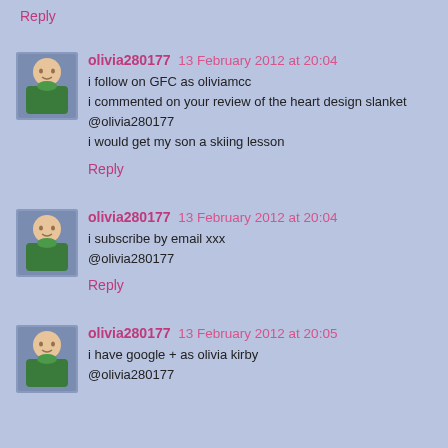Reply
olivia280177 13 February 2012 at 20:04
i follow on GFC as oliviamcc
i commented on your review of the heart design slanket @olivia280177
i would get my son a skiing lesson
Reply
olivia280177 13 February 2012 at 20:04
i subscribe by email xxx
@olivia280177
Reply
olivia280177 13 February 2012 at 20:05
i have google + as olivia kirby
@olivia280177